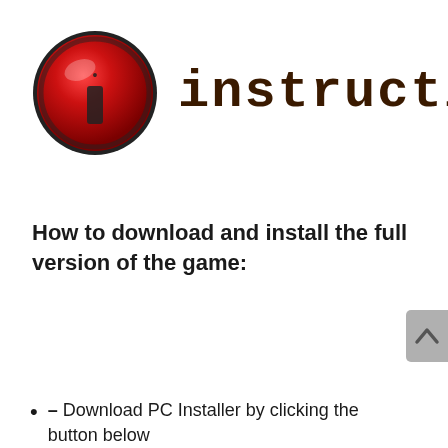[Figure (logo): Red circular info icon with a lowercase 'i' in the center, styled with metallic dark ring, next to stylized block-font text reading 'instruction' in dark brown]
instruction
How to download and install the full version of the game:
– Download PC Installer by clicking the button below